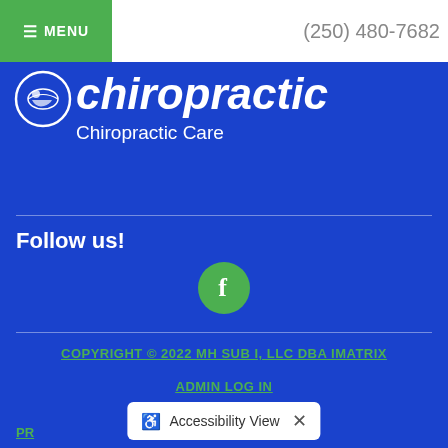≡ MENU    (250) 480-7682
chiropractic
Chiropractic Care
Follow us!
[Figure (logo): Facebook icon - green circle with white letter f]
COPYRIGHT © 2022 MH SUB I, LLC DBA IMATRIX
ADMIN LOG IN
SITE MAP
PR...
Accessibility View  ×